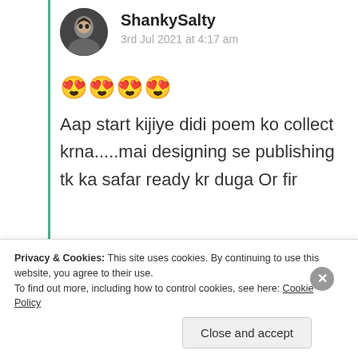ShankySalty
3rd Jul 2021 at 4:17 am
😍😍😍😍
Aap start kijiye didi poem ko collect krna.....mai designing se publishing tk ka safar ready kr duga Or fir
Privacy & Cookies: This site uses cookies. By continuing to use this website, you agree to their use.
To find out more, including how to control cookies, see here: Cookie Policy
Close and accept